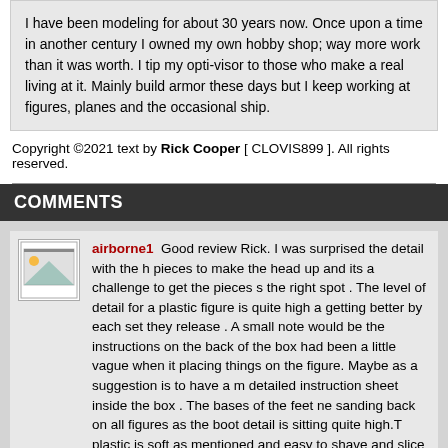I have been modeling for about 30 years now. Once upon a time in another century I owned my own hobby shop; way more work than it was worth. I tip my opti-visor to those who make a real living at it. Mainly build armor these days but I keep working at figures, planes and the occasional ship.
Copyright ©2021 text by Rick Cooper [ CLOVIS899 ]. All rights reserved.
COMMENTS
airborne1  Good review Rick. I was surprised the detail with the h pieces to make the head up and its a challenge to get the pieces s the right spot . The level of detail for a plastic figure is quite high a getting better by each set they release . A small note would be the instructions on the back of the box had been a little vague when it placing things on the figure. Maybe as a suggestion is to have a m detailed instruction sheet inside the box . The bases of the feet ne sanding back on all figures as the boot detail is sitting quite high.T plastic is soft as mentioned and easy to shave and slice with an e No11 blade. The good thing about the rank and unit patch's on the that the Archer emblems will sit straight on the plastic . This will be enhancement on the figure detail Having just finished the figures a was so impressed with the figure quality for a plastic figure set I o Tasco Jumbo for them to be posed on . I'm going to use the same that come in the kit. Michael
NOV 13, 2011 - 02:25 PM